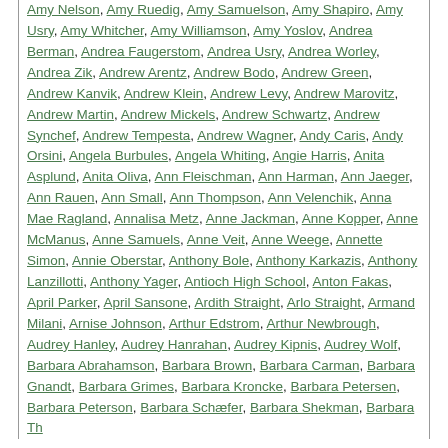Amy Nelson, Amy Ruedig, Amy Samuelson, Amy Shapiro, Amy Usry, Amy Whitcher, Amy Williamson, Amy Yoslov, Andrea Berman, Andrea Faugerstom, Andrea Usry, Andrea Worley, Andrea Zik, Andrew Arentz, Andrew Bodo, Andrew Green, Andrew Kanvik, Andrew Klein, Andrew Levy, Andrew Marovitz, Andrew Martin, Andrew Mickels, Andrew Schwartz, Andrew Synchef, Andrew Tempesta, Andrew Wagner, Andy Caris, Andy Orsini, Angela Burbules, Angela Whiting, Angie Harris, Anita Asplund, Anita Oliva, Ann Fleischman, Ann Harman, Ann Jaeger, Ann Rauen, Ann Small, Ann Thompson, Ann Velenchik, Anna Mae Ragland, Annalisa Metz, Anne Jackman, Anne Kopper, Anne McManus, Anne Samuels, Anne Veit, Anne Weege, Annette Simon, Annie Oberstar, Anthony Bole, Anthony Karkazis, Anthony Lanzillotti, Anthony Yager, Antioch High School, Anton Fakas, April Parker, April Sansone, Ardith Straight, Arlo Straight, Armand Milani, Arnise Johnson, Arthur Edstrom, Arthur Newbrough, Audrey Hanley, Audrey Hanrahan, Audrey Kipnis, Audrey Wolf, Barbara Abrahamson, Barbara Brown, Barbara Carman, Barbara Gnandt, Barbara Grimes, Barbara Kroncke, Barbara Petersen, Barbara Peterson, Barbara Schaefer, Barbara Shekman, Barbara Thompson